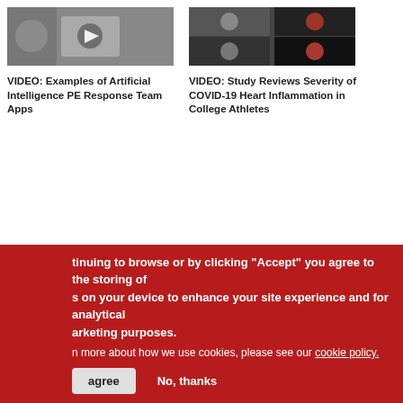[Figure (photo): Thumbnail image of AI PE Response Team Apps video]
VIDEO: Examples of Artificial Intelligence PE Response Team Apps
[Figure (photo): Thumbnail image of COVID-19 Heart Inflammation Study video showing cardiac MRI scans]
VIDEO: Study Reviews Severity of COVID-19 Heart Inflammation in College Athletes
[Figure (other): Change Healthcare advertisement banner with logo and tagline: Insight. Innovation. Transformation.]
tinuing to browse or by clicking “Accept” you agree to the storing of s on your device to enhance your site experience and for analytical arketing purposes.
n more about how we use cookies, please see our cookie policy.
agree
No, thanks